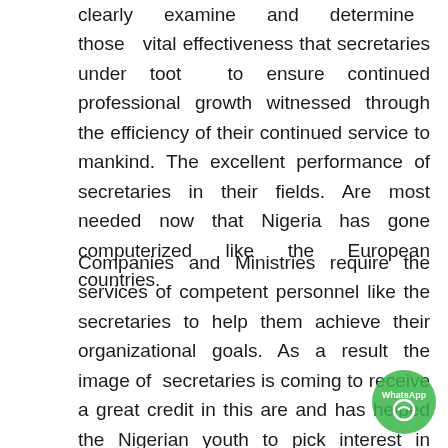clearly examine and determine those vital effectiveness that secretaries under toot to ensure continued professional growth witnessed through the efficiency of their continued service to mankind. The excellent performance of secretaries in their fields. Are most needed now that Nigeria has gone computerized like the European countries.
Companies and Ministries require the services of competent personnel like the secretaries to help them achieve their organizational goals. As a result the image of secretaries is coming to receive a great credit in this are and has helped the Nigerian youth to pick interest in secretarial course which labour market. The efficiency and proficiency of these